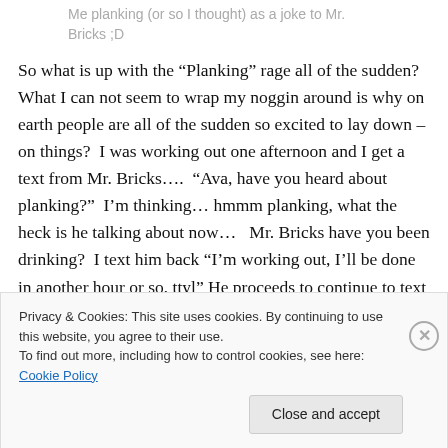Me planking (or so I thought) as a joke to Mr. Bricks ;D
So what is up with the “Planking” rage all of the sudden? What I can not seem to wrap my noggin around is why on earth people are all of the sudden so excited to lay down – on things?  I was working out one afternoon and I get a text from Mr. Bricks….  “Ava, have you heard about planking?”  I’m thinking… hmmm planking, what the heck is he talking about now…   Mr. Bricks have you been drinking?  I text him back “I’m working out, I’ll be done in another hour or so, ttyl” He proceeds to continue to text
Privacy & Cookies: This site uses cookies. By continuing to use this website, you agree to their use.
To find out more, including how to control cookies, see here: Cookie Policy